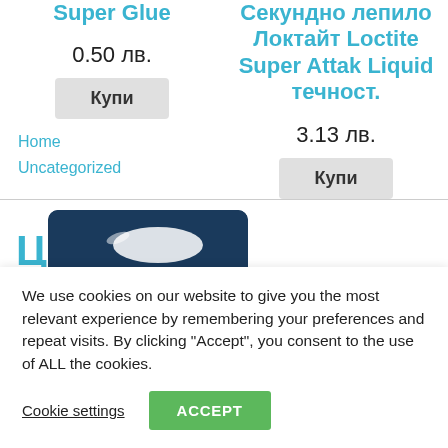Super Glue
0.50 лв.
Купи
Home
Uncategorized
Секундно лепило Локтайт Loctite Super Attak Liquid течност.
3.13 лв.
Купи
[Figure (photo): Product image on dark blue background]
We use cookies on our website to give you the most relevant experience by remembering your preferences and repeat visits. By clicking "Accept", you consent to the use of ALL the cookies.
Cookie settings
ACCEPT